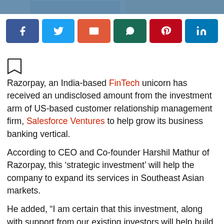[Figure (photo): Top photo strip showing a person in blue clothing, partially cropped]
[Figure (infographic): Social media share buttons row: Facebook (blue), Twitter (light blue), Email (orange-red), WhatsApp (dark green), Pinterest (dark red), LinkedIn (blue)]
Razorpay, an India-based FinTech unicorn has received an undisclosed amount from the investment arm of US-based customer relationship management firm, Salesforce Ventures to help grow its business banking vertical.
According to CEO and Co-founder Harshil Mathur of Razorpay, this ‘strategic investment’ will help the company to expand its services in Southeast Asian markets.
He added, “I am certain that this investment, along with support from our existing investors will help build an ecosystem for a hassle-free, easy-to-integrate payment